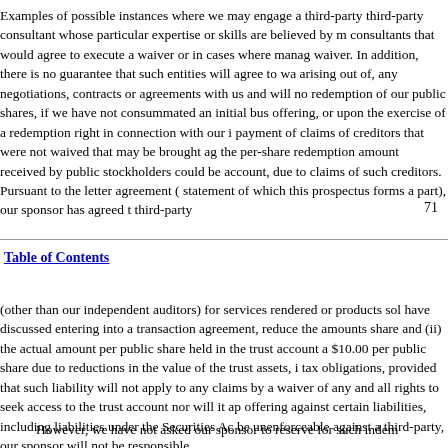Examples of possible instances where we may engage a third-party third-party consultant whose particular expertise or skills are believed by m consultants that would agree to execute a waiver or in cases where manag waiver. In addition, there is no guarantee that such entities will agree to wa arising out of, any negotiations, contracts or agreements with us and will no redemption of our public shares, if we have not consummated an initial bus offering, or upon the exercise of a redemption right in connection with our i payment of claims of creditors that were not waived that may be brought ag the per-share redemption amount received by public stockholders could be account, due to claims of such creditors. Pursuant to the letter agreement ( statement of which this prospectus forms a part), our sponsor has agreed t third-party
71
Table of Contents
(other than our independent auditors) for services rendered or products sol have discussed entering into a transaction agreement, reduce the amounts share and (ii) the actual amount per public share held in the trust account a $10.00 per public share due to reductions in the value of the trust assets, i tax obligations, provided that such liability will not apply to any claims by a waiver of any and all rights to seek access to the trust account nor will it ap offering against certain liabilities, including liabilities under the Securities Ac be unenforceable against a third-party, our sponsor will not be responsible
However, we have not asked our sponsor to reserve for such indem